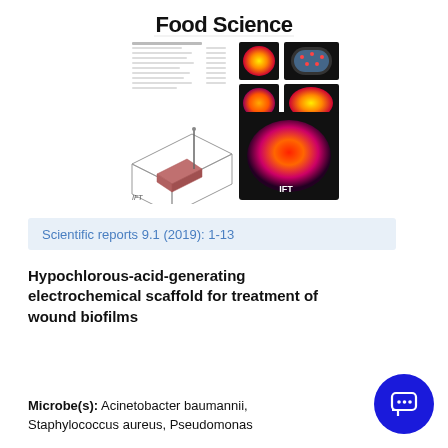[Figure (illustration): Food Science journal cover showing thermal imaging of food items and a schematic diagram of an electrochemical apparatus, with colorful thermal heat maps in orange, red, and purple colors, and an IFT logo]
Scientific reports 9.1 (2019): 1-13
Hypochlorous-acid-generating electrochemical scaffold for treatment of wound biofilms
Microbe(s): Acinetobacter baumannii, Staphylococcus aureus, Pseudomonas